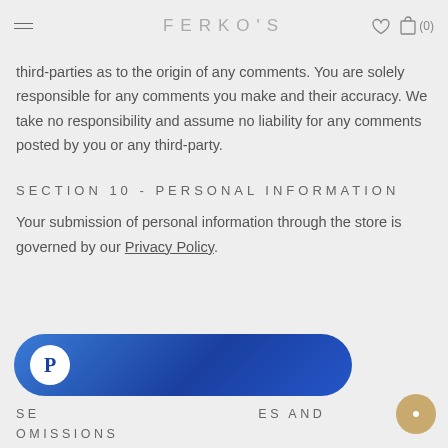FERKO'S
third-parties as to the origin of any comments. You are solely responsible for any comments you make and their accuracy. We take no responsibility and assume no liability for any comments posted by you or any third-party.
SECTION 10 - PERSONAL INFORMATION
Your submission of personal information through the store is governed by our Privacy Policy.
[Figure (other): PayPal payment button - blue rounded pill-shaped button with PayPal P logo]
SECTION 11 - ERRORS, INACCURACIES AND OMISSIONS